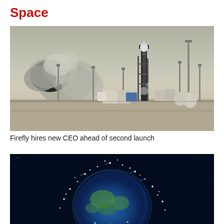Space
[Figure (photo): A rocket on a launch pad with large smoke clouds billowing around the base, viewed from a distance across a flat launch facility with various support structures and tanks visible.]
Firefly hires new CEO ahead of second launch
[Figure (photo): An illustration of Earth surrounded by a dense cloud of orbiting satellites and space debris, against a dark blue space background.]